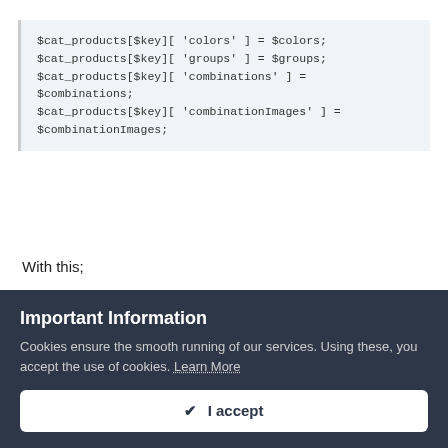$cat_products[$key][ 'colors' ] = $colors;
$cat_products[$key][ 'groups' ] = $groups;
$cat_products[$key][ 'combinations' ] =
$combinations;
$cat_products[$key][ 'combinationImages' ] =
$combinationImages;
With this;
$this->cat_products[$key][ 'colors' ] = $colors;
$this->cat_products[$key][ 'groups' ] = $groups;
$this->cat_products[$key][ 'combinations'...
Important Information
Cookies ensure the smooth running of our services. Using these, you accept the use of cookies. Learn More
✓ I accept